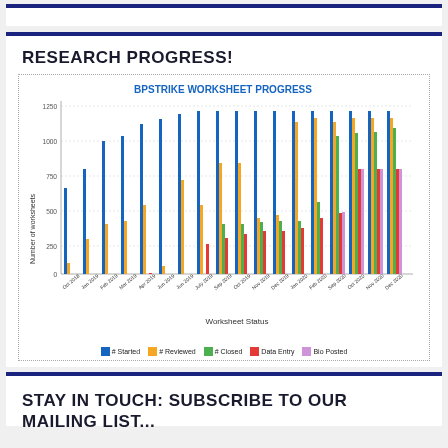RESEARCH PROGRESS!
[Figure (grouped-bar-chart): BPSTRIKE WORKSHEET PROGRESS]
STAY IN TOUCH: SUBSCRIBE TO OUR MAILING LIST...